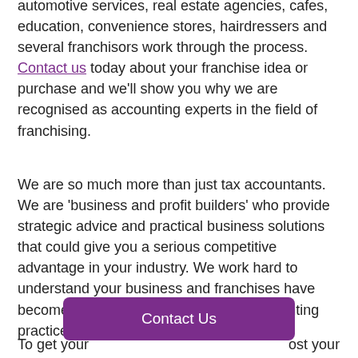automotive services, real estate agencies, cafes, education, convenience stores, hairdressers and several franchisors work through the process. Contact us today about your franchise idea or purchase and we'll show you why we are recognised as accounting experts in the field of franchising.
We are so much more than just tax accountants. We are 'business and profit builders' who provide strategic advice and practical business solutions that could give you a serious competitive advantage in your industry. We work hard to understand your business and franchises have become a real niche area within our accounting practice over the past decade.
To get your ... ost your
Contact Us